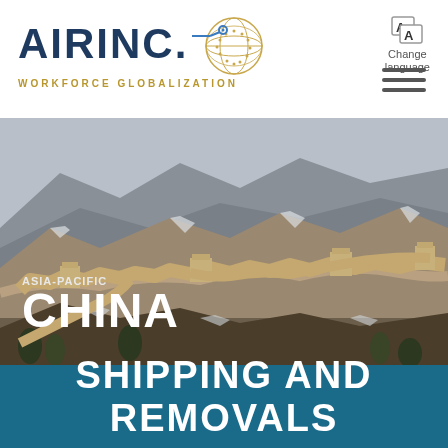[Figure (logo): AIRINC Workforce Globalization logo with globe graphic and circuit-like connector lines in navy and gold]
Change language
[Figure (photo): Aerial photograph of the Great Wall of China winding through snow-dusted mountains under a grey sky]
ASIA-PACIFIC
CHINA
SHIPPING AND REMOVALS